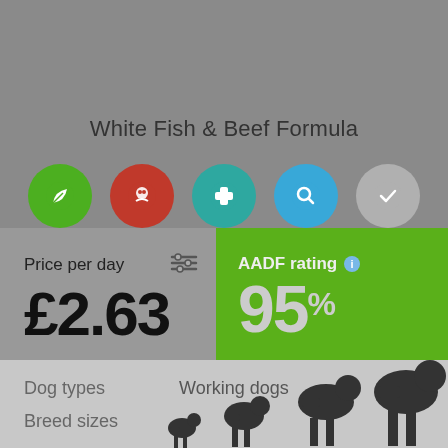White Fish & Beef Formula
[Figure (infographic): Row of 5 circular icons: green leaf, red meat/fish, teal medical cross, blue magnifier, gray checkmark]
Price per day
£2.63
AADF rating
95%
Dog types
Working dogs
Breed sizes
[Figure (illustration): Silhouettes of dogs of increasing sizes from left to right]